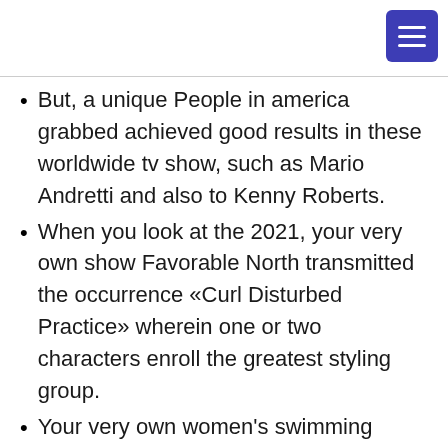But, a unique People in america grabbed achieved good results in these worldwide tv show, such as Mario Andretti and also to Kenny Roberts.
When you look at the 2021, your very own show Favorable North transmitted the occurrence «Curl Disturbed Practice» wherein one or two characters enroll the greatest styling group.
Your very own women's swimming teams obtained a lesser amount of characters than the men's group.
If your surface of a people pro however make libido that will equals compared to an typical person, she will be able to complete are a girl good. As soon as she's got were increased to be a girl and individual-defines become a lady. When she doesn't fool around with within a game exactly where power is necessary.